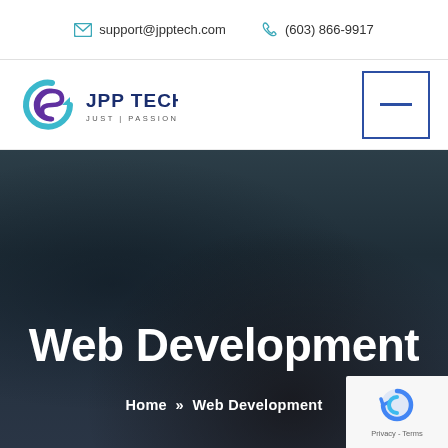support@jpptech.com  (603) 866-9917
[Figure (logo): JPP Tech logo with circular arrow icon and text JPP TECH JUST | PASSION | PERSEVERANCE]
[Figure (other): Navigation menu button with blue border and horizontal line]
Web Development
Home » Web Development